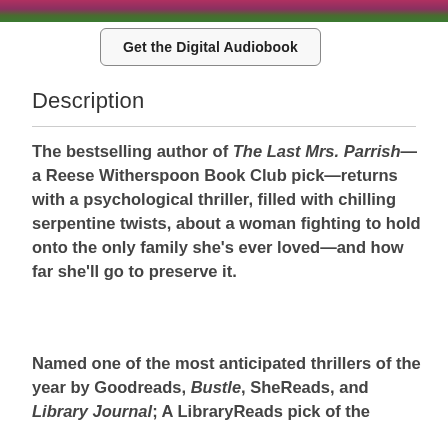[Figure (photo): Partial image at top of page showing dark red/purple and green colors, appears to be a book cover crop]
Get the Digital Audiobook
Description
The bestselling author of The Last Mrs. Parrish—a Reese Witherspoon Book Club pick—returns with a psychological thriller, filled with chilling serpentine twists, about a woman fighting to hold onto the only family she's ever loved—and how far she'll go to preserve it.
Named one of the most anticipated thrillers of the year by Goodreads, Bustle, SheReads, and Library Journal; A LibraryReads pick of the